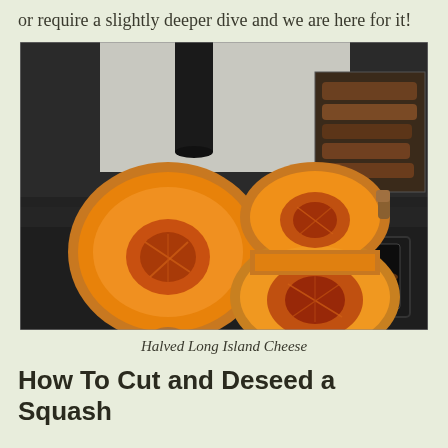or require a slightly deeper dive and we are here for it!
[Figure (photo): A halved Long Island Cheese squash/pumpkin displayed on a black wood stove, showing bright orange flesh and seeds. Firewood visible in the background.]
Halved Long Island Cheese
How To Cut and Deseed a Squash